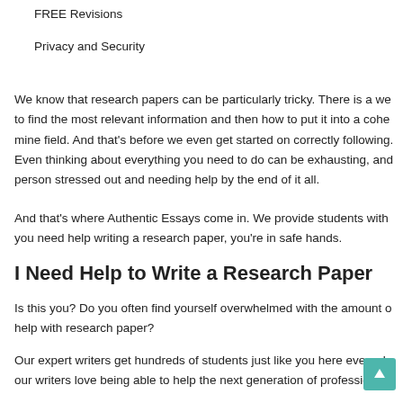FREE Revisions
Privacy and Security
We know that research papers can be particularly tricky. There is a we to find the most relevant information and then how to put it into a cohe mine field. And that's before we even get started on correctly following. Even thinking about everything you need to do can be exhausting, and person stressed out and needing help by the end of it all.
And that's where Authentic Essays come in. We provide students with you need help writing a research paper, you're in safe hands.
I Need Help to Write a Research Paper
Is this you? Do you often find yourself overwhelmed with the amount o help with research paper?
Our expert writers get hundreds of students just like you here every da our writers love being able to help the next generation of professionals